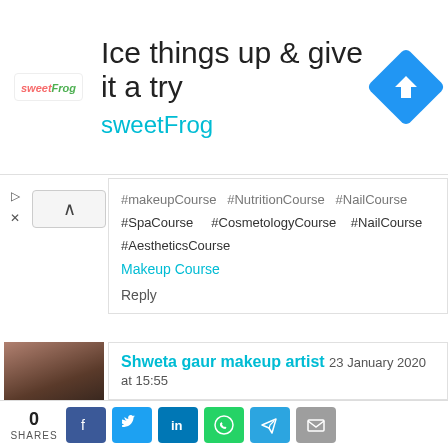[Figure (other): Advertisement banner for sweetFrog frozen yogurt. Headline: 'Ice things up & give it a try', brand name 'sweetFrog' in teal, sweetFrog logo on left, blue diamond navigation icon on right.]
#makeupCourse  #NutritionCourse  #NailCourse  #SpaCourse  #CosmetologyCourse  #NailCourse  #AestheticsCourse
Makeup Course
Reply
Shweta gaur makeup artist  23 January 2020 at 15:55
Shweta gaur is one of the famous makeup artist in all over India. We are providing the best makeup artist courses and more other courses in over branches in Delhi.
Bridal Makeup Makeup Artist in Delhi Makeup Artist Best Makeup Artist in Delhi Best Makeup Artist in East Delhi Top Makeup Artist in Delhi Top Makeup Artist in India Bridal Makeup
0 SHARES